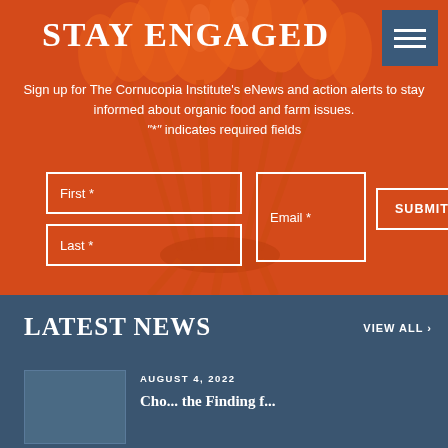STAY ENGAGED
Sign up for The Cornucopia Institute's eNews and action alerts to stay informed about organic food and farm issues. "*" indicates required fields
[Figure (illustration): Orange background with wheat/cornucopia illustration and a sign-up form with First, Last, Email fields and a SUBMIT button]
LATEST NEWS
VIEW ALL ›
AUGUST 4, 2022
Story about findings from...